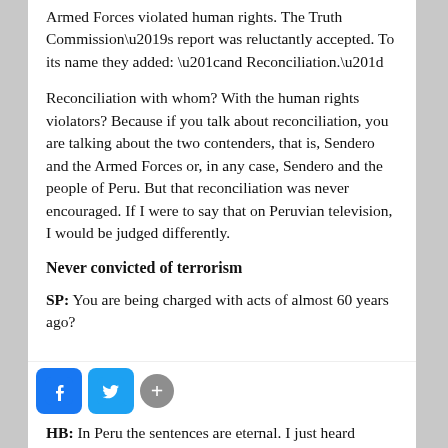Armed Forces violated human rights. The Truth Commission’s report was reluctantly accepted. To its name they added: “and Reconciliation.”
Reconciliation with whom? With the human rights violators? Because if you talk about reconciliation, you are talking about the two contenders, that is, Sendero and the Armed Forces or, in any case, Sendero and the people of Peru. But that reconciliation was never encouraged. If I were to say that on Peruvian television, I would be judged differently.
Never convicted of terrorism
SP: You are being charged with acts of almost 60 years ago?
HB: In Peru the sentences are eternal. I just heard